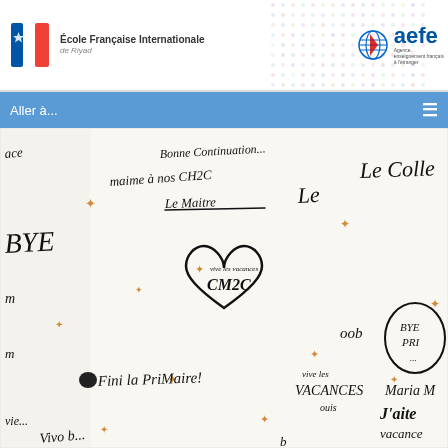École Française Internationale de Riyad — aefe
Aller à...
[Figure (photo): Children's handwritten farewell messages on white paper including: 'Bonne continuation', 'maime à nos CH2C Le Maitre', 'Le', 'BYE', a heart drawing with 'vive les vacances' and 'CM2C' inside, 'oob', 'BYE PRI', 'Fini la PriMaire!', 'vive les VACANCES Maria M', 'ouis', 'J'aite vacances', and other handwritten notes with star decorations]